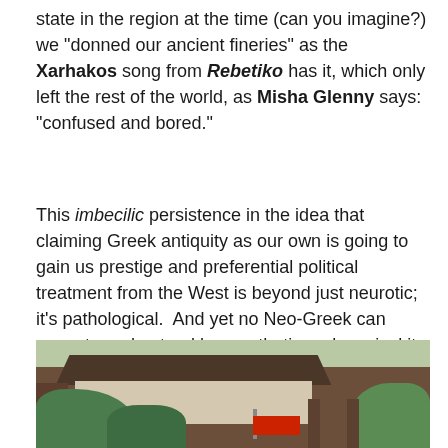state in the region at the time (can you imagine?) we “donned our ancient fineries” as the Xarhakos song from Rebetiko has it, which only left the rest of the world, as Misha Glenny says: “confused and bored.”
This imbecilic persistence in the idea that claiming Greek antiquity as our own is going to gain us prestige and preferential political treatment from the West is beyond just neurotic; it’s pathological.  And yet no Neo-Greek can seem to understand how pathetic and comical it seems from an outsider’s perspective.
[Figure (photo): Outdoor photograph of a traditional wooden building with a dark tiled roof, white walls, surrounded by green trees and vegetation. A red flag with a dark emblem is visible near the center-right of the building.]